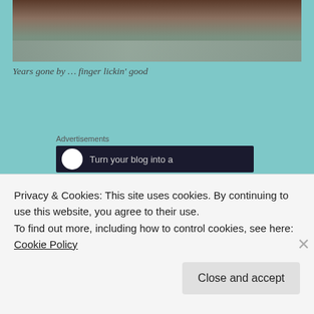[Figure (photo): Partial photo of an animal (appears to be a bear or similar) peeking over a ledge or container, cropped at top of page]
Years gone by … finger lickin' good
Advertisements
[Figure (other): Advertisement banner with dark background showing text 'Turn your blog into a']
On Saturday night police patrolled the neighborhoods to make sure no one gathered outside the churches, a-iting
Privacy & Cookies: This site uses cookies. By continuing to use this website, you agree to their use.
To find out more, including how to control cookies, see here: Cookie Policy
Close and accept